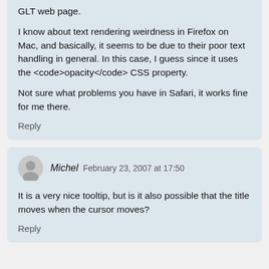GLT web page.

I know about text rendering weirdness in Firefox on Mac, and basically, it seems to be due to their poor text handling in general. In this case, I guess since it uses the <code>opacity</code> CSS property.

Not sure what problems you have in Safari, it works fine for me there.
Reply
Michel  February 23, 2007 at 17:50
It is a very nice tooltip, but is it also possible that the title moves when the cursor moves?
Reply